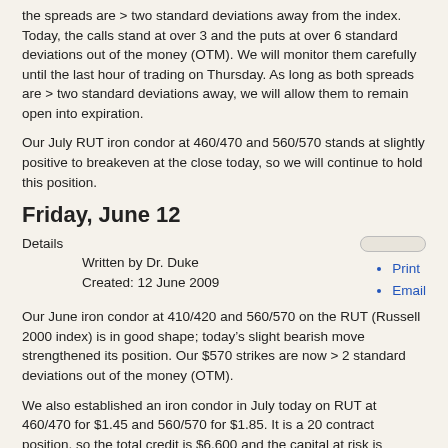the spreads are > two standard deviations away from the index. Today, the calls stand at over 3 and the puts at over 6 standard deviations out of the money (OTM). We will monitor them carefully until the last hour of trading on Thursday. As long as both spreads are > two standard deviations away, we will allow them to remain open into expiration.
Our July RUT iron condor at 460/470 and 560/570 stands at slightly positive to breakeven at the close today, so we will continue to hold this position.
Friday, June 12
Details
Written by Dr. Duke
Created: 12 June 2009
Print
Email
Our June iron condor at 410/420 and 560/570 on the RUT (Russell 2000 index) is in good shape; today’s slight bearish move strengthened its position. Our $570 strikes are now > 2 standard deviations out of the money (OTM).
We also established an iron condor in July today on RUT at 460/470 for $1.45 and 560/570 for $1.85. It is a 20 contract position, so the total credit is $6,600 and the capital at risk is $13,400. The risk/reward ratio of this condor is much smaller than the one above, closer to 2:1. This is a somewhat tighter position, with each spread inside of one standard deviation. We will target to only be in this position for about two weeks. Our breakevens are at $467 and $563, but we will close the trade well before reaching those points. We will close the spreads on a side when the debit to close either is twice the original credit or when we can close the spread